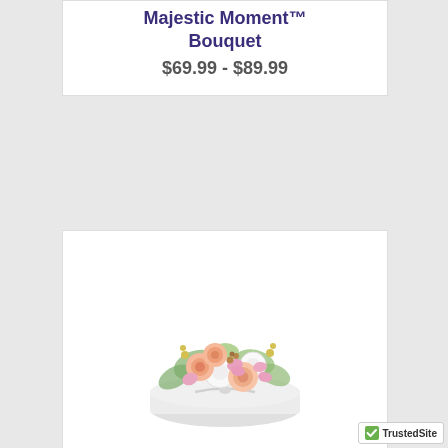Majestic Moment™ Bouquet
$69.99 - $89.99
[Figure (photo): Flower bouquet arrangement with pink roses, white chrysanthemums, pink alstroemeria, and greenery in a white hatbox with ribbon]
Penny™ Hatbox
$64.99 - $84.99
TrustedSite